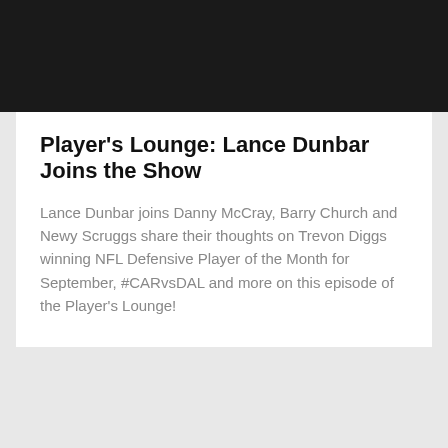[Figure (photo): Black bar at top of page, likely a video thumbnail or header image area]
Player's Lounge: Lance Dunbar Joins the Show
Lance Dunbar joins Danny McCray, Barry Church and Newy Scruggs share their thoughts on Trevon Diggs winning NFL Defensive Player of the Month for September, #CARvsDAL and more on this episode of the Player's Lounge!